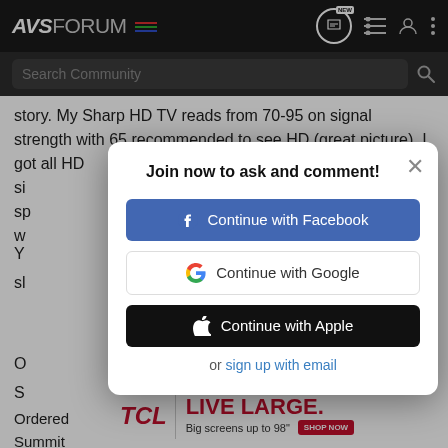AVS FORUM
Search Community
story. My Sharp HD TV reads from 70-95 on signal strength with 65 recommended to see HD (great picture). I got all HD si sp w
Y n sl
O S
Join now to ask and comment!
Continue with Facebook
Continue with Google
Continue with Apple
or sign up with email
Ordered Summit
[Figure (screenshot): TCL advertisement banner: TCL logo, LIVE LARGE text, Big screens up to 98", SHOP NOW button]